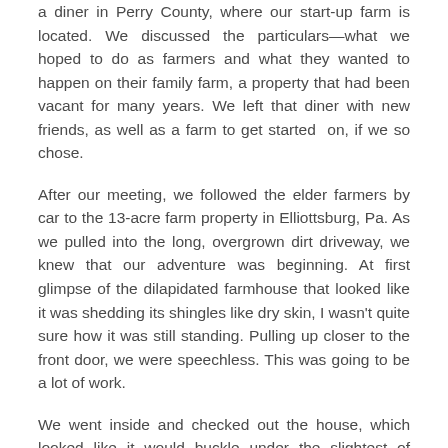a diner in Perry County, where our start-up farm is located. We discussed the particulars—what we hoped to do as farmers and what they wanted to happen on their family farm, a property that had been vacant for many years. We left that diner with new friends, as well as a farm to get started on, if we so chose.
After our meeting, we followed the elder farmers by car to the 13-acre farm property in Elliottsburg, Pa. As we pulled into the long, overgrown dirt driveway, we knew that our adventure was beginning. At first glimpse of the dilapidated farmhouse that looked like it was shedding its shingles like dry skin, I wasn't quite sure how it was still standing. Pulling up closer to the front door, we were speechless. This was going to be a lot of work.
We went inside and checked out the house, which looked like it would buckle under the slightest of awkward footsteps. As I watched my footing, I wondered how many different critters might greet us on our tour. The compilation of snake skins, wasp hives and